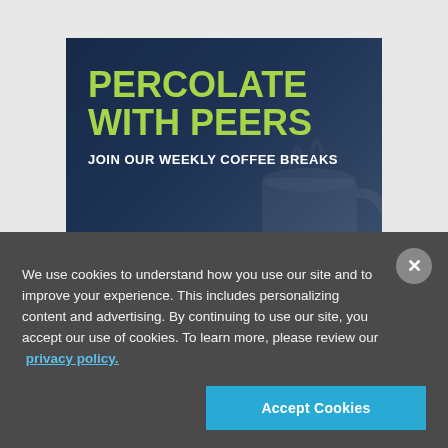[Figure (illustration): Promotional banner with dark navy blue background and a faded coffee cup image. Large green bold text reads 'PERCOLATE WITH PEERS', below it white bold text reads 'JOIN OUR WEEKLY COFFEE BREAKS', and a 'SIGN UP FOR FREE >' button at the bottom.]
We use cookies to understand how you use our site and to improve your experience. This includes personalizing content and advertising. By continuing to use our site, you accept our use of cookies. To learn more, please review our privacy policy.
Accept Cookies